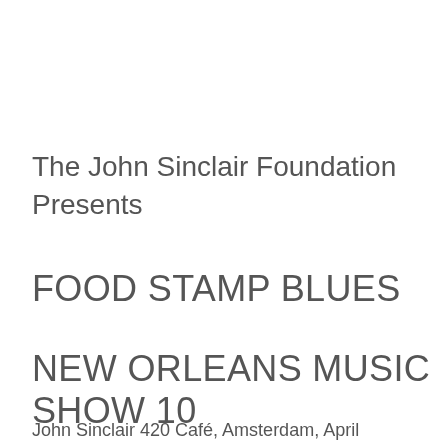The John Sinclair Foundation Presents
FOOD STAMP BLUES
NEW ORLEANS MUSIC SHOW 10
John Sinclair 420 Café, Amsterdam, April